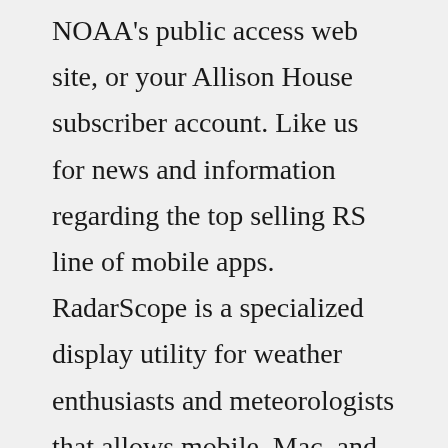NOAA's public access web site, or your Allison House subscriber account. Like us for news and information regarding the top selling RS line of mobile apps. RadarScope is a specialized display utility for weather enthusiasts and meteorologists that allows mobile, Mac, and tablet users to view NEXRAD radar … 19,553 people like this 20,547 people follow this http://www.radarscope.app/ radarscope@dtn.comHello MWMER. My